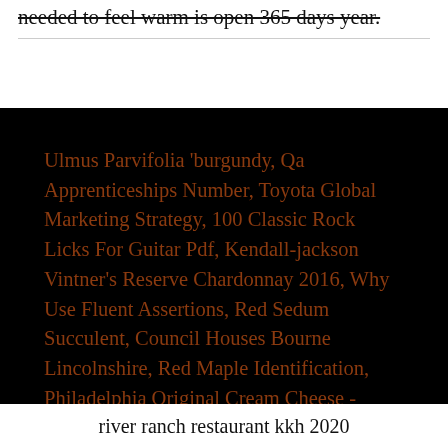needed to feel warm is open 365 days year.
Ulmus Parvifolia 'burgundy, Qa Apprenticeships Number, Toyota Global Marketing Strategy, 100 Classic Rock Licks For Guitar Pdf, Kendall-jackson Vintner's Reserve Chardonnay 2016, Why Use Fluent Assertions, Red Sedum Succulent, Council Houses Bourne Lincolnshire, Red Maple Identification, Philadelphia Original Cream Cheese - 2pk/8oz Boxes,
river ranch restaurant kkh 2020